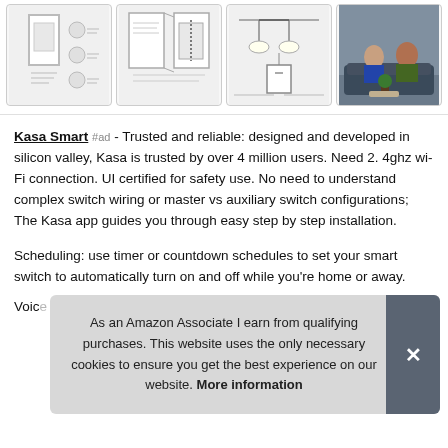[Figure (screenshot): Four product thumbnail images in a row: smart switch product sheet, installation diagram, wiring diagram, and people using device on couch]
Kasa Smart #ad - Trusted and reliable: designed and developed in silicon valley, Kasa is trusted by over 4 million users. Need 2. 4ghz wi-Fi connection. UI certified for safety use. No need to understand complex switch wiring or master vs auxiliary switch configurations; The Kasa app guides you through easy step by step installation.
Scheduling: use timer or countdown schedules to set your smart switch to automatically turn on and off while you're home or away.
Voic the lights in your home with your voice via Amazon Alexa or
As an Amazon Associate I earn from qualifying purchases. This website uses the only necessary cookies to ensure you get the best experience on our website. More information